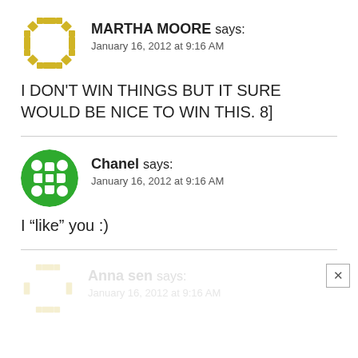MARTHA MOORE says: January 16, 2012 at 9:16 AM
I DON’T WIN THINGS BUT IT SURE WOULD BE NICE TO WIN THIS. 8]
Chanel says: January 16, 2012 at 9:16 AM
I “like” you :)
Anna sen says: January 16, 2012 at 9:16 AM